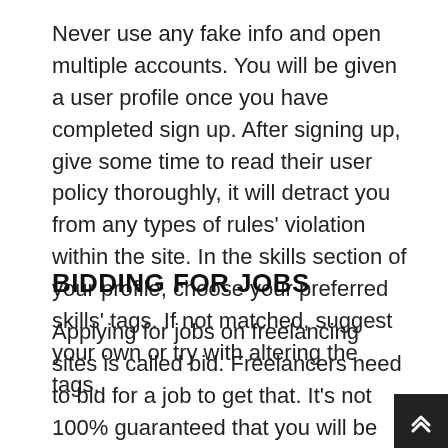Never use any fake info and open multiple accounts. You will be given a user profile once you have completed sign up. After signing up, give some time to read their user policy thoroughly, it will detract you from any types of rules' violation within the site. In the skills section of your profile, choose your preferred skills' tags. If not matched, suggest your own or try with altering the tags.
BIDDING FOR JOBS
Applying for jobs on freelancing sites is called bid. Freelancers need to bid for a job to get that. It's not 100% guaranteed that you will be hired for a job, but you have to try. Some sites limit freelancers to apply up to 30 jobs monthly in free plans while other sites give more freedom like as many as you can. Clients